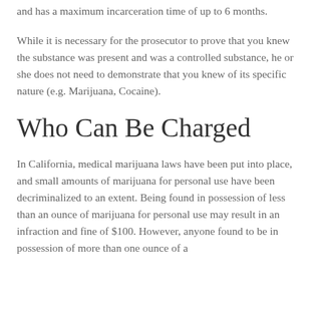and has a maximum incarceration time of up to 6 months.
While it is necessary for the prosecutor to prove that you knew the substance was present and was a controlled substance, he or she does not need to demonstrate that you knew of its specific nature (e.g. Marijuana, Cocaine).
Who Can Be Charged
In California, medical marijuana laws have been put into place, and small amounts of marijuana for personal use have been decriminalized to an extent. Being found in possession of less than an ounce of marijuana for personal use may result in an infraction and fine of $100. However, anyone found to be in possession of more than one ounce of a